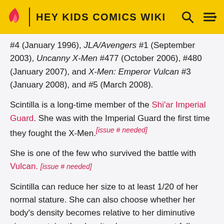HEY KIDS COMICS WIKI
#4 (January 1996), JLA/Avengers #1 (September 2003), Uncanny X-Men #477 (October 2006), #480 (January 2007), and X-Men: Emperor Vulcan #3 (January 2008), and #5 (March 2008).
Scintilla is a long-time member of the Shi'ar Imperial Guard. She was with the Imperial Guard the first time they fought the X-Men.[issue # needed]
She is one of the few who survived the battle with Vulcan. [issue # needed]
Scintilla can reduce her size to at least 1/20 of her normal stature. She can also choose whether her body's density becomes relative to her diminutive size, or retains the density she possesses at full height. If the latter...